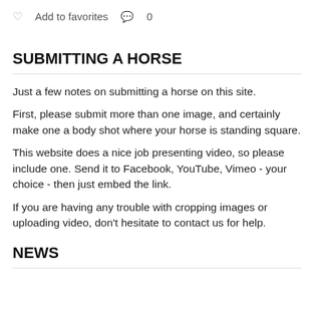♥ Add to favorites  💬 0
SUBMITTING A HORSE
Just a few notes on submitting a horse on this site.
First, please submit more than one image, and certainly make one a body shot where your horse is standing square.
This website does a nice job presenting video, so please include one. Send it to Facebook, YouTube, Vimeo - your choice - then just embed the link.
If you are having any trouble with cropping images or uploading video, don't hesitate to contact us for help.
NEWS